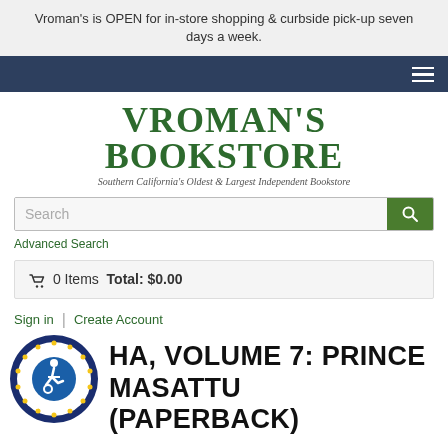Vroman's is OPEN for in-store shopping & curbside pick-up seven days a week.
[Figure (logo): Vroman's Bookstore logo with tagline 'Southern California's Oldest & Largest Independent Bookstore']
Search
Advanced Search
0 Items  Total: $0.00
Sign in | Create Account
[Figure (logo): ADA Site Compliance badge with wheelchair accessibility icon]
HA, VOLUME 7: PRINCE MASATTU (PAPERBACK)